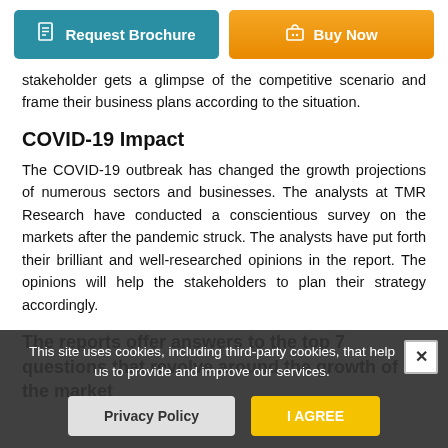[Figure (other): Request Brochure and Buy Now buttons at the top of the page]
stakeholder gets a glimpse of the competitive scenario and frame their business plans according to the situation.
COVID-19 Impact
The COVID-19 outbreak has changed the growth projections of numerous sectors and businesses. The analysts at TMR Research have conducted a conscientious survey on the markets after the pandemic struck. The analysts have put forth their brilliant and well-researched opinions in the report. The opinions will help the stakeholders to plan their strategy accordingly.
The reports offer answers to the top 7 questions that revolve around the growth of the market
This site uses cookies, including third-party cookies, that help us to provide and improve our services.
Privacy Policy   I AGREE